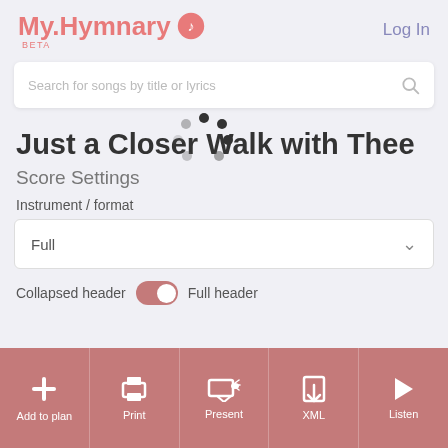My.Hymnary BETA  Log In
Search for songs by title or lyrics
[Figure (other): Loading spinner animation overlay on song title]
Just a Closer Walk with Thee
Score Settings
Instrument / format
Full
Collapsed header  Full header
Add to plan  Print  Present  XML  Listen